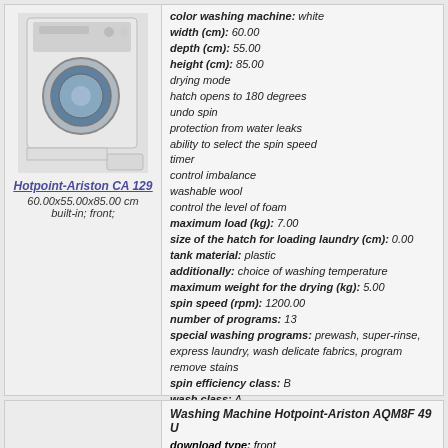[Figure (photo): Photo of Hotpoint-Ariston CA 129 built-in washing machine, white, front-loading]
Hotpoint-Ariston CA 129
60.00x55.00x85.00 cm
built-in; front;
color washing machine: white
width (cm): 60.00
depth (cm): 55.00
height (cm): 85.00
drying mode
hatch opens to 180 degrees
undo spin
protection from water leaks
ability to select the spin speed
timer
control imbalance
washable wool
control the level of foam
maximum load (kg): 7.00
size of the hatch for loading laundry (cm): 0.00
tank material: plastic
additionally: choice of washing temperature
maximum weight for the drying (kg): 5.00
spin speed (rpm): 1200.00
number of programs: 13
special washing programs: prewash, super-rinse, express laundry, wash delicate fabrics, program remove stains
spin efficiency class: B
wash class: A
display: no
more information
Washing Machine Hotpoint-Ariston AQM8F 49 U
download type: front
manufacturer: Hotpoint-Ariston